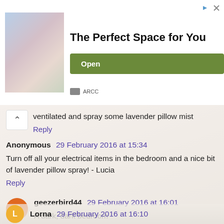[Figure (other): Advertisement banner: wedding venue photo on left, 'The Perfect Space for You' text in center, green 'Open' button on right, ARCC branding at bottom left, close/info icons at top right]
ventilated and spray some lavender pillow mist
Reply
Anonymous 29 February 2016 at 15:34
Turn off all your electrical items in the bedroom and a nice bit of lavender pillow spray! - Lucia
Reply
geezerbird44 29 February 2016 at 16:01
A dark, dark bedroom
Reply
Lorna 29 February 2016 at 16:10